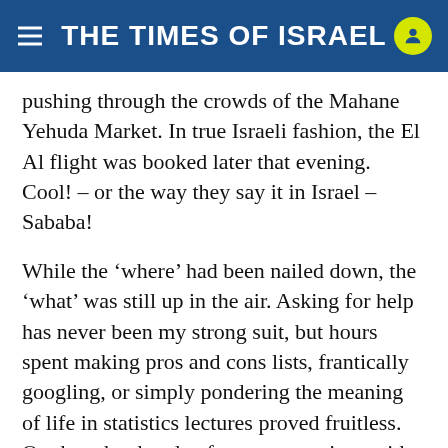THE TIMES OF ISRAEL
pushing through the crowds of the Mahane Yehuda Market. In true Israeli fashion, the El Al flight was booked later that evening. Cool! – or the way they say it in Israel – Sababa!
While the ‘where’ had been nailed down, the ‘what’ was still up in the air. Asking for help has never been my strong suit, but hours spent making pros and cons lists, frantically googling, or simply pondering the meaning of life in statistics lectures proved fruitless. On the other hand, a few conversations with my trusted mentors, closest friends, and my parents allowed me to envision my ideal summer – simply put, a program that combined business experience and Jewish education. Less than 24 hours, a number of leads